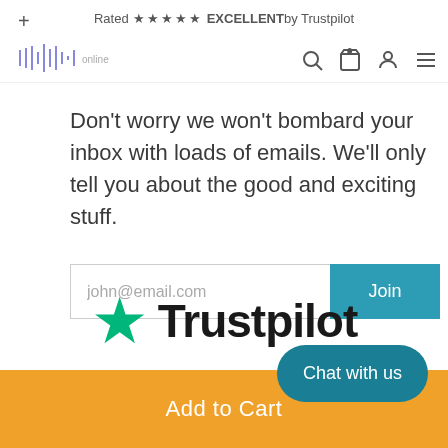Rated ★★★★★ EXCELLENT by Trustpilot
[Figure (logo): Audio waveform logo in blue/purple]
Don't worry we won't bombard your inbox with loads of emails. We'll only tell you about the good and exciting stuff.
john@email.com  Join
[Figure (logo): Trustpilot logo with green star]
Add to Cart
Chat with us